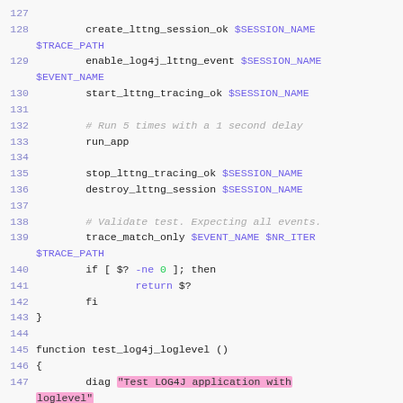[Figure (screenshot): Source code listing showing lines 127-147 of a shell script, with syntax highlighting. Variables in purple, comments in gray italic, numeric literals in green, string highlights in pink/magenta background.]